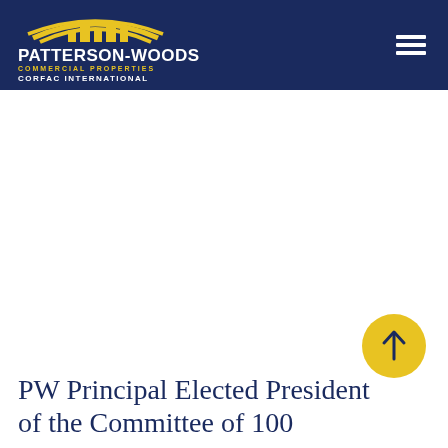Patterson-Woods Commercial Properties | CORFAC International
PW Principal Elected President of the Committee of 100